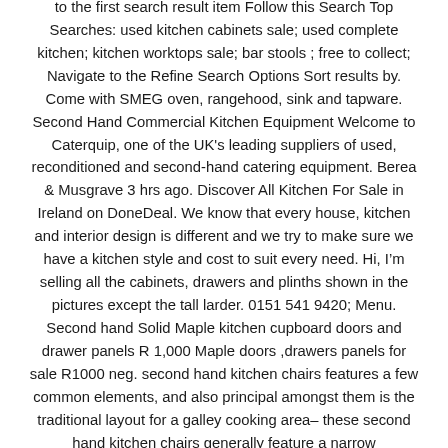to the first search result item Follow this Search Top Searches: used kitchen cabinets sale; used complete kitchen; kitchen worktops sale; bar stools ; free to collect; Navigate to the Refine Search Options Sort results by. Come with SMEG oven, rangehood, sink and tapware. Second Hand Commercial Kitchen Equipment Welcome to Caterquip, one of the UK's leading suppliers of used, reconditioned and second-hand catering equipment. Berea & Musgrave 3 hrs ago. Discover All Kitchen For Sale in Ireland on DoneDeal. We know that every house, kitchen and interior design is different and we try to make sure we have a kitchen style and cost to suit every need. Hi, I'm selling all the cabinets, drawers and plinths shown in the pictures except the tall larder. 0151 541 9420; Menu. Second hand Solid Maple kitchen cupboard doors and drawer panels R 1,000 Maple doors ,drawers panels for sale R1000 neg. second hand kitchen chairs features a few common elements, and also principal amongst them is the traditional layout for a galley cooking area– these second hand kitchen chairs generally feature a narrow